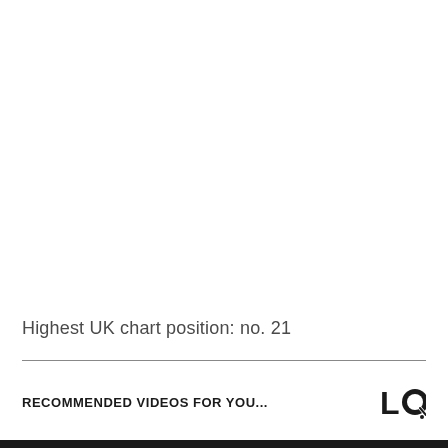Highest UK chart position: no. 21
RECOMMENDED VIDEOS FOR YOU...